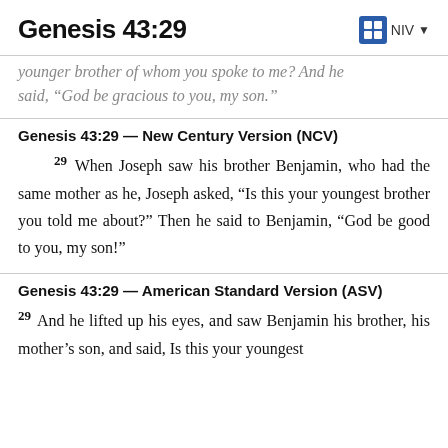Genesis 43:29  NIV
younger brother of whom you spoke to me? And he said, “God be gracious to you, my son.”
Genesis 43:29 — New Century Version (NCV)
29 When Joseph saw his brother Benjamin, who had the same mother as he, Joseph asked, “Is this your youngest brother you told me about?” Then he said to Benjamin, “God be good to you, my son!”
Genesis 43:29 — American Standard Version (ASV)
29 And he lifted up his eyes, and saw Benjamin his brother, his mother’s son, and said, Is this your youngest